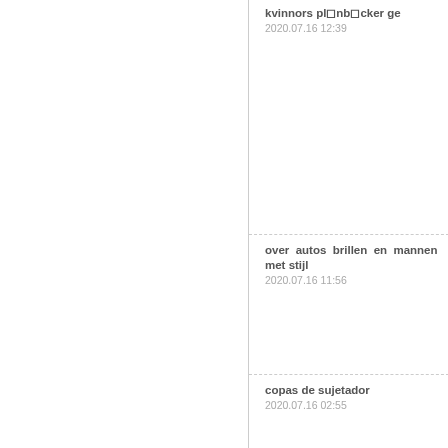kvinnors pl□nb□cker ge
2020.07.16 12:39
over autos brillen en mannen met stijl
2020.07.16 11:56
copas de sujetador
2020.07.16 02:55